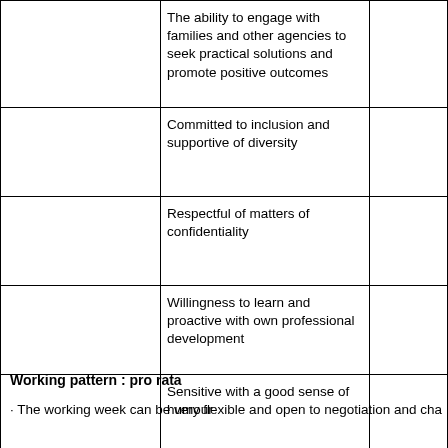|  | The ability to engage with families and other agencies to seek practical solutions and promote positive outcomes |  |
|  | Committed to inclusion and supportive of diversity |  |
|  | Respectful of matters of confidentiality |  |
|  | Willingness to learn and proactive with own professional development |  |
|  | Sensitive with a good sense of humour |  |
Working pattern : pro rata
· The working week can be very flexible and open to negotiation and cha